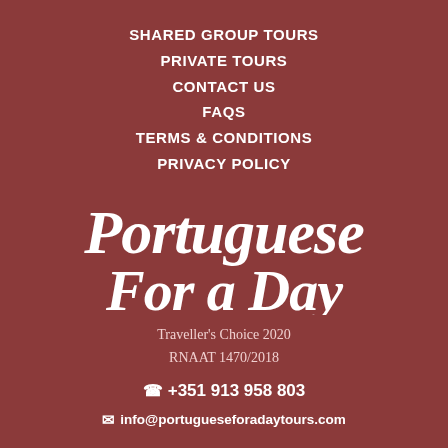SHARED GROUP TOURS
PRIVATE TOURS
CONTACT US
FAQS
TERMS & CONDITIONS
PRIVACY POLICY
[Figure (logo): Portuguese For a Day script logo in white cursive lettering on dark red background]
Traveller's Choice 2020
RNAAT 1470/2018
+351 913 958 803
info@portugueseforadaytours.com